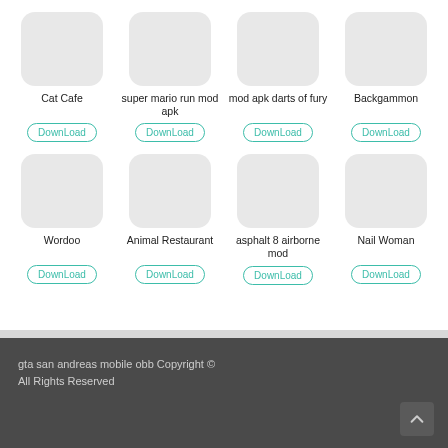[Figure (screenshot): App grid row 1: Cat Cafe, super mario run mod apk, mod apk darts of fury, Backgammon — each with a grey rounded icon placeholder and a teal DownLoad button]
[Figure (screenshot): App grid row 2: Wordoo, Animal Restaurant, asphalt 8 airborne mod, Nail Woman — each with a grey rounded icon placeholder and a teal DownLoad button]
gta san andreas mobile obb Copyright © All Rights Reserved